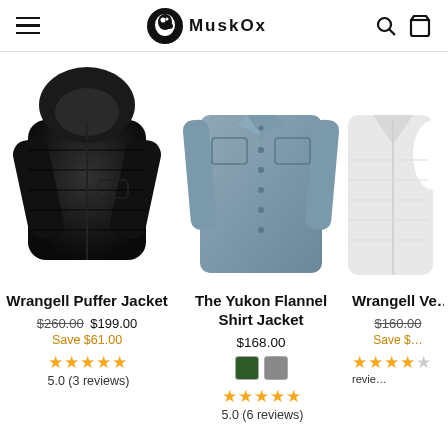MuskOx — navigation header with hamburger menu, logo, search and cart icons
[Figure (photo): Black quilted hooded puffer jacket on white background]
[Figure (photo): Grey-blue flannel shirt jacket on white background]
[Figure (photo): Partial view of a vest on white background (cropped)]
Wrangell Puffer Jacket $260.00 $199.00 Save $61.00 5.0 (3 reviews)
The Yukon Flannel Shirt Jacket $168.00 5.0 (6 reviews)
Wrangell Ve... $160.00 Save $... (reviews)